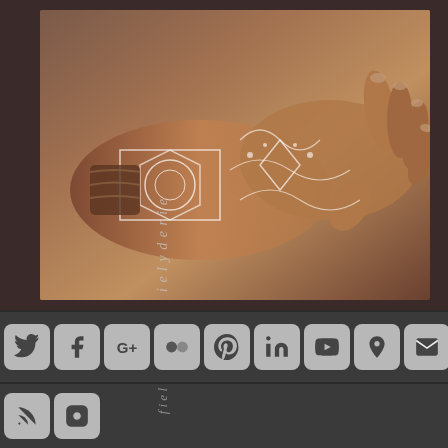[Figure (photo): A hand decorated with intricate henna/mehndi tattoo patterns covering the back of the hand and forearm. The design features geometric and floral patterns in dark reddish-brown. Vertical watermark text overlaid reading 'ielyderie'.]
[Figure (screenshot): Social media icon buttons in a dark toolbar: Twitter (bird), Facebook (f), Google+ (G+), Flickr (squares), Pinterest (P), LinkedIn (in), YouTube (You), Location pin, Email/envelope, RSS feed, Instagram (camera)]